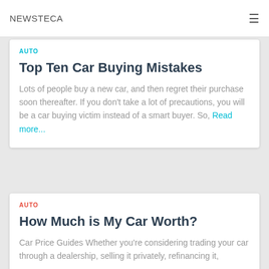NEWSTECA
AUTO
Top Ten Car Buying Mistakes
Lots of people buy a new car, and then regret their purchase soon thereafter. If you don't take a lot of precautions, you will be a car buying victim instead of a smart buyer. So, Read more...
AUTO
How Much is My Car Worth?
Car Price Guides Whether you're considering trading your car through a dealership, selling it privately, refinancing it,